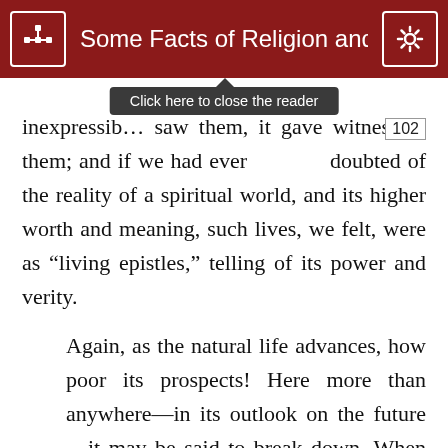Some Facts of Religion and of Li
inexpressib… saw them, it gave witness to them; and if we had ever 102 doubted of the reality of a spiritual world, and its higher worth and meaning, such lives, we felt, were as “living epistles,” telling of its power and verity.
Again, as the natural life advances, how poor its prospects! Here more than anywhere—in its outlook on the future—it may be said to break down. When the spring and summer are gone, and autumn advancing, there is only a wintry weariness and gloom before it. The strength of former hope dies out; the affections on which it has fed grow